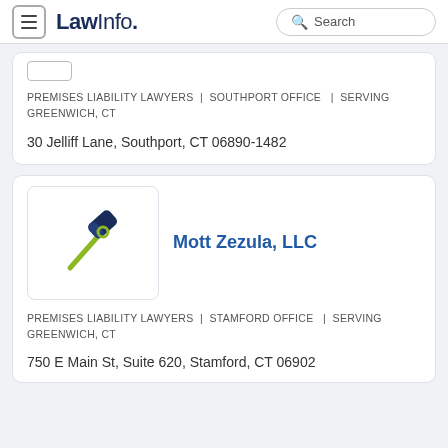LawInfo. | Search
PREMISES LIABILITY LAWYERS | SOUTHPORT OFFICE | SERVING GREENWICH, CT
30 Jelliff Lane, Southport, CT 06890-1482
Mott Zezula, LLC
PREMISES LIABILITY LAWYERS | STAMFORD OFFICE | SERVING GREENWICH, CT
750 E Main St, Suite 620, Stamford, CT 06902